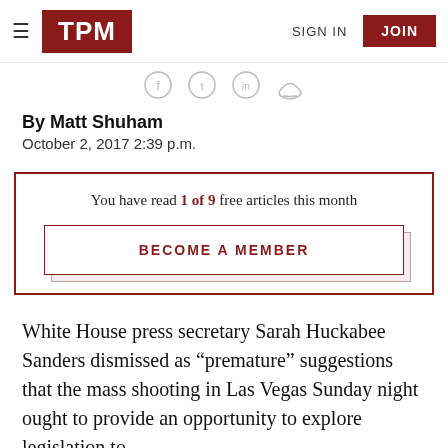TPM — SIGN IN | JOIN
By Matt Shuham
October 2, 2017 2:39 p.m.
You have read 1 of 9 free articles this month
BECOME A MEMBER
White House press secretary Sarah Huckabee Sanders dismissed as “premature” suggestions that the mass shooting in Las Vegas Sunday night ought to provide an opportunity to explore legislation to